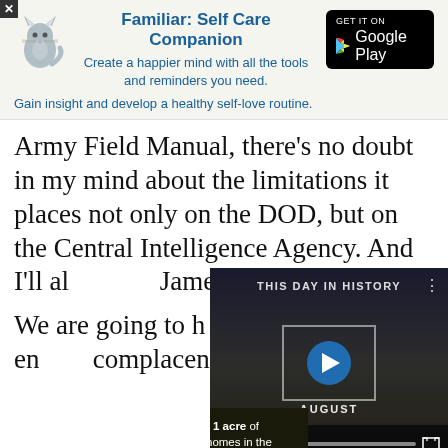[Figure (screenshot): App advertisement banner for 'Familiar: Self Care Companion' with cat logo and Google Play button. Text: 'Create a happier mind with all the tools and reminders you need.' and 'Gain insight and develop a healthy self-love routine.']
Army Field Manual, there’s no doubt in my mind about the limitations it places not only on the DOD, but on the Central Intelligence Agency. And I’ll al… James Mattis
We are going to h… pressure on the en… complacency on t…
[Figure (screenshot): Video player overlay showing 'THIS DAY IN HISTORY' with play button, AUGUST label, and video controls including mute, progress bar, and fullscreen button.]
[Figure (screenshot): Forest conservation advertisement: 'Just $2 can protect 1 acre of irreplaceable forest homes in the Amazon. How many acres are you willing to protect?' with PROTECT FORESTS NOW button.]